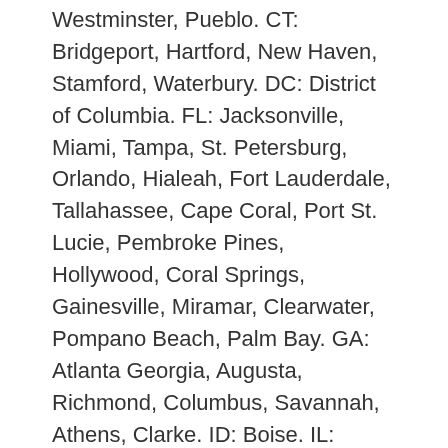Westminster, Pueblo. CT: Bridgeport, Hartford, New Haven, Stamford, Waterbury. DC: District of Columbia. FL: Jacksonville, Miami, Tampa, St. Petersburg, Orlando, Hialeah, Fort Lauderdale, Tallahassee, Cape Coral, Port St. Lucie, Pembroke Pines, Hollywood, Coral Springs, Gainesville, Miramar, Clearwater, Pompano Beach, Palm Bay. GA: Atlanta Georgia, Augusta, Richmond, Columbus, Savannah, Athens, Clarke. ID: Boise. IL: Chicago, Aurora, Rockford, Joliet, Naperville, Springfield, Peoria, Elgin. IN: Indianapolis, Fort Wayne, Evansville, South Bend. IA: Des Moines, Cedar Rapids. KS: Wichita, Overland Park, Kansas, Topeka, Olathe. KY: Louisville, Jefferson, Lexington, Fayette. LA: New Orleans, Baton Rouge, Shreveport, Lafayette. MD: Baltimore. MA: Boston, Worcester, Springfield, Lowell, Cambridge. MI: Detroit, Grand